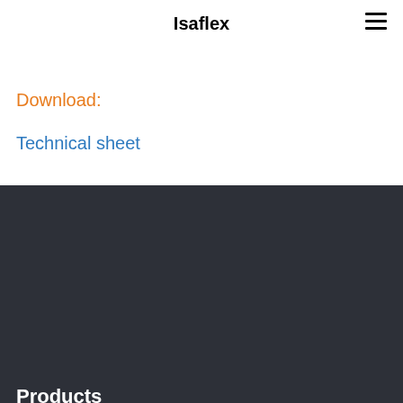Isaflex
Download:
Technical sheet
Products
Traps
Floor drains
Floor grates
Waterproofing
Accessories
Flexible metal pipes